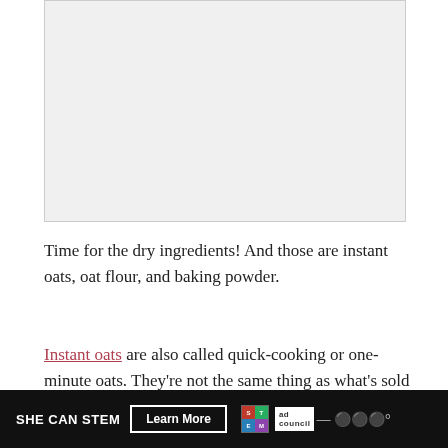[Figure (photo): Image placeholder — likely a food/cooking photograph]
Time for the dry ingredients! And those are instant oats, oat flour, and baking powder.
Instant oats are also called quick-cooking or one-minute oats. They're not the same thing as what's sold in those individual brown paper packets with flavors like apple cinnamon and maple brown sugar! They only include one ingredient — oats! — and are just smaller and thinner than traditional old-fashioned rolled oats. This smaller size
SHE CAN STEM  Learn More  [logos]